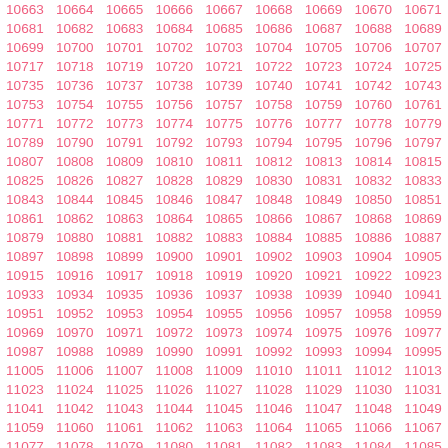| 10663 | 10664 | 10665 | 10666 | 10667 | 10668 | 10669 | 10670 | 10671 |
| 10681 | 10682 | 10683 | 10684 | 10685 | 10686 | 10687 | 10688 | 10689 |
| 10699 | 10700 | 10701 | 10702 | 10703 | 10704 | 10705 | 10706 | 10707 |
| 10717 | 10718 | 10719 | 10720 | 10721 | 10722 | 10723 | 10724 | 10725 |
| 10735 | 10736 | 10737 | 10738 | 10739 | 10740 | 10741 | 10742 | 10743 |
| 10753 | 10754 | 10755 | 10756 | 10757 | 10758 | 10759 | 10760 | 10761 |
| 10771 | 10772 | 10773 | 10774 | 10775 | 10776 | 10777 | 10778 | 10779 |
| 10789 | 10790 | 10791 | 10792 | 10793 | 10794 | 10795 | 10796 | 10797 |
| 10807 | 10808 | 10809 | 10810 | 10811 | 10812 | 10813 | 10814 | 10815 |
| 10825 | 10826 | 10827 | 10828 | 10829 | 10830 | 10831 | 10832 | 10833 |
| 10843 | 10844 | 10845 | 10846 | 10847 | 10848 | 10849 | 10850 | 10851 |
| 10861 | 10862 | 10863 | 10864 | 10865 | 10866 | 10867 | 10868 | 10869 |
| 10879 | 10880 | 10881 | 10882 | 10883 | 10884 | 10885 | 10886 | 10887 |
| 10897 | 10898 | 10899 | 10900 | 10901 | 10902 | 10903 | 10904 | 10905 |
| 10915 | 10916 | 10917 | 10918 | 10919 | 10920 | 10921 | 10922 | 10923 |
| 10933 | 10934 | 10935 | 10936 | 10937 | 10938 | 10939 | 10940 | 10941 |
| 10951 | 10952 | 10953 | 10954 | 10955 | 10956 | 10957 | 10958 | 10959 |
| 10969 | 10970 | 10971 | 10972 | 10973 | 10974 | 10975 | 10976 | 10977 |
| 10987 | 10988 | 10989 | 10990 | 10991 | 10992 | 10993 | 10994 | 10995 |
| 11005 | 11006 | 11007 | 11008 | 11009 | 11010 | 11011 | 11012 | 11013 |
| 11023 | 11024 | 11025 | 11026 | 11027 | 11028 | 11029 | 11030 | 11031 |
| 11041 | 11042 | 11043 | 11044 | 11045 | 11046 | 11047 | 11048 | 11049 |
| 11059 | 11060 | 11061 | 11062 | 11063 | 11064 | 11065 | 11066 | 11067 |
| 11077 | 11078 | 11079 | 11080 | 11081 | 11082 | 11083 | 11084 | 11085 |
| 11095 | 11096 | 11097 | 11098 | 11099 | 11100 | 11101 | 11102 | 11103 |